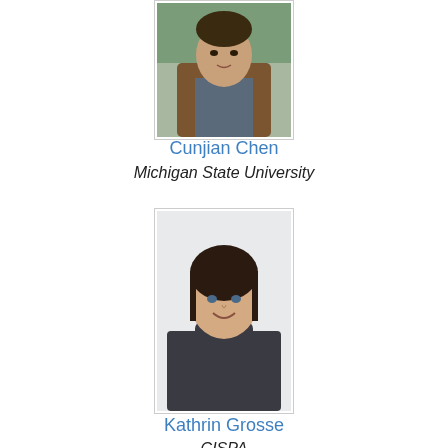[Figure (photo): Headshot of Cunjian Chen, a man in a brown jacket outdoors]
Cunjian Chen
Michigan State University
[Figure (photo): Headshot of Kathrin Grosse, a woman in a dark turtleneck sweater, smiling]
Kathrin Grosse
CISPA